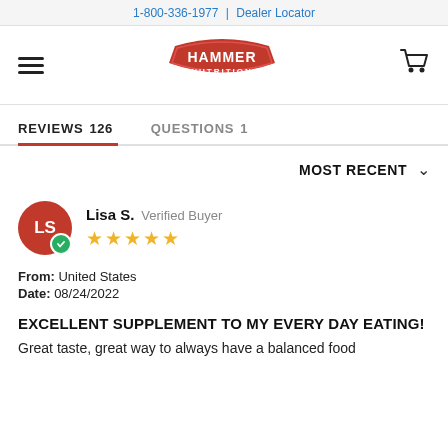1-800-336-1977 | Dealer Locator
[Figure (logo): Hammer Nutrition logo — red badge shape with white text HAMMER NUTRITION]
REVIEWS 126   QUESTIONS 1
MOST RECENT
Lisa S. Verified Buyer ★★★★★
From: United States
Date: 08/24/2022
EXCELLENT SUPPLEMENT TO MY EVERY DAY EATING!
Great taste, great way to always have a balanced food